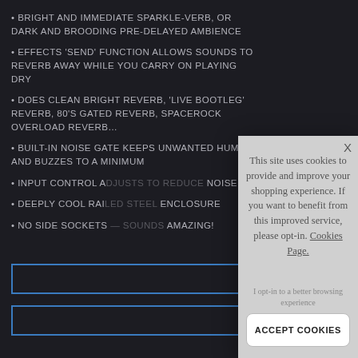BRIGHT AND IMMEDIATE SPARKLE-VERB, OR DARK AND BROODING PRE-DELAYED AMBIENCE
EFFECTS 'SEND' FUNCTION ALLOWS SOUNDS TO REVERB AWAY WHILE YOU CARRY ON PLAYING DRY
DOES CLEAN BRIGHT REVERB, 'LIVE BOOTLEG' REVERB, 80'S GATED REVERB, SPACEROCK OVERLOAD REVERB…
BUILT-IN NOISE GATE KEEPS UNWANTED HUMS AND BUZZES TO A MINIMUM
INPUT CONTROL A[...] NOISE
DEEPLY COOL RAI[...] ENCLOSURE
NO SIDE SOCKETS[...] AMAZING!
[Figure (screenshot): Cookie consent modal dialog over a dark e-commerce product page. Modal contains text about cookie usage, an opt-in link, and an ACCEPT COOKIES button.]